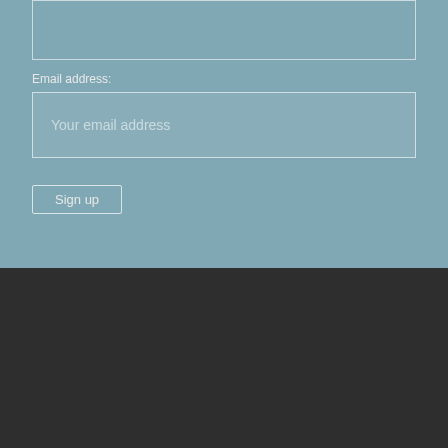Email address:
Your email address
Sign up
© 2016 House of Artisan | For the Creatives
House of Artisan acknowledges the Traditional Custodians of land upon which we work, and we pay our respects to Elders past, present and emerging.
Follow us: